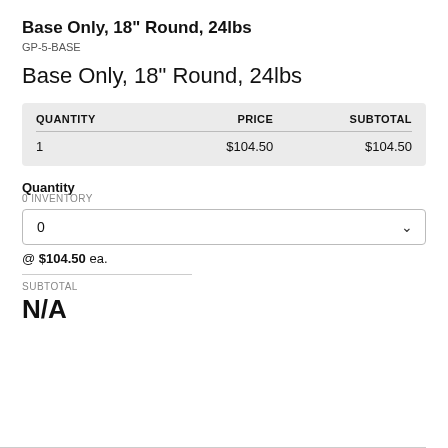Base Only, 18" Round, 24lbs
GP-5-BASE
Base Only, 18" Round, 24lbs
| QUANTITY | PRICE | SUBTOTAL |
| --- | --- | --- |
| 1 | $104.50 | $104.50 |
Quantity
0 INVENTORY
0
@ $104.50 ea.
SUBTOTAL
N/A